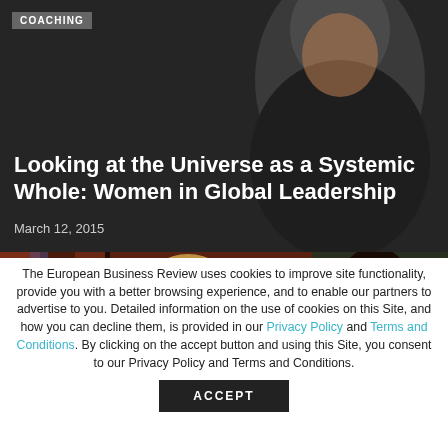[Figure (photo): Dark background hero image with silhouette of a person, coaching badge top left]
COACHING
Looking at the Universe as a Systemic Whole: Women in Global Leadership
March 12, 2015
[Figure (photo): Two-panel image strip: left panel shows a woman speaker with glasses at a podium with red/brown background and COACHING badge; right panel shows another person with COACHING badge]
The European Business Review uses cookies to improve site functionality, provide you with a better browsing experience, and to enable our partners to advertise to you. Detailed information on the use of cookies on this Site, and how you can decline them, is provided in our Privacy Policy and Terms and Conditions. By clicking on the accept button and using this Site, you consent to our Privacy Policy and Terms and Conditions.